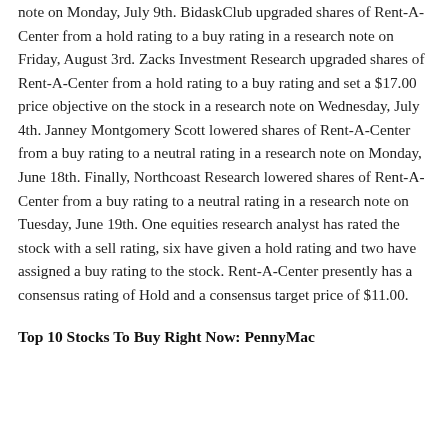note on Monday, July 9th. BidaskClub upgraded shares of Rent-A-Center from a hold rating to a buy rating in a research note on Friday, August 3rd. Zacks Investment Research upgraded shares of Rent-A-Center from a hold rating to a buy rating and set a $17.00 price objective on the stock in a research note on Wednesday, July 4th. Janney Montgomery Scott lowered shares of Rent-A-Center from a buy rating to a neutral rating in a research note on Monday, June 18th. Finally, Northcoast Research lowered shares of Rent-A-Center from a buy rating to a neutral rating in a research note on Tuesday, June 19th. One equities research analyst has rated the stock with a sell rating, six have given a hold rating and two have assigned a buy rating to the stock. Rent-A-Center presently has a consensus rating of Hold and a consensus target price of $11.00.
Top 10 Stocks To Buy Right Now: PennyMac